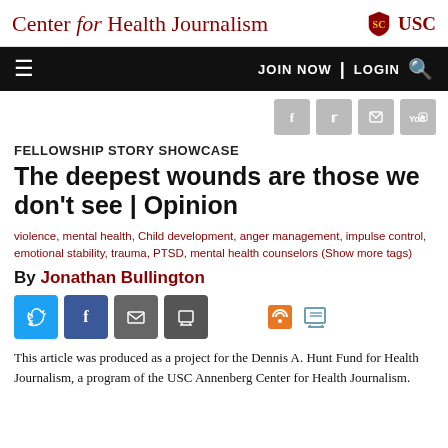Center for Health Journalism | USC
FELLOWSHIP STORY SHOWCASE
The deepest wounds are those we don't see | Opinion
violence, mental health, Child development, anger management, impulse control, emotional stability, trauma, PTSD, mental health counselors (Show more tags)
By Jonathan Bullington
[Figure (infographic): Social share buttons: Twitter, Facebook, Email, Print, RSS, Print icons]
This article was produced as a project for the Dennis A. Hunt Fund for Health Journalism, a program of the USC Annenberg Center for Health Journalism.